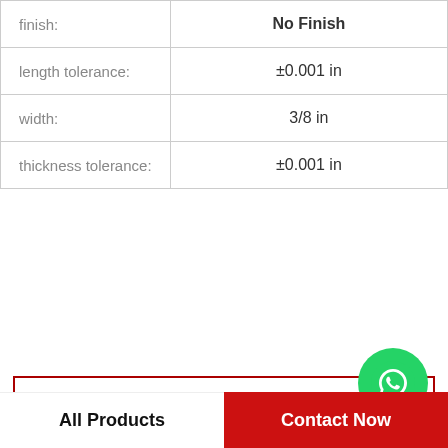| Property | Value |
| --- | --- |
| finish: | No Finish |
| length tolerance: | ±0.001 in |
| width: | 3/8 in |
| thickness tolerance: | ±0.001 in |
View more
[Figure (illustration): WhatsApp icon green circle with phone handset]
WhatsApp Online
Company Profile
China ucp205 Bearing Supplier
Phone   +1-973-582-4850
All Products
Contact Now